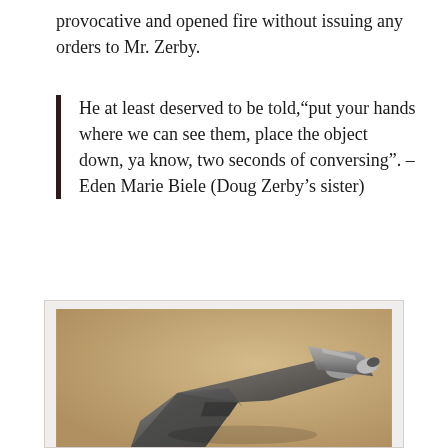provocative and opened fire without issuing any orders to Mr. Zerby.
He at least deserved to be told,“put your hands where we can see them, place the object down, ya know, two seconds of conversing”. – Eden Marie Biele (Doug Zerby’s sister)
[Figure (photo): Close-up photograph of a dark metallic spray nozzle/garden hose nozzle against a tan/beige background. The nozzle is angled upward to the right.]